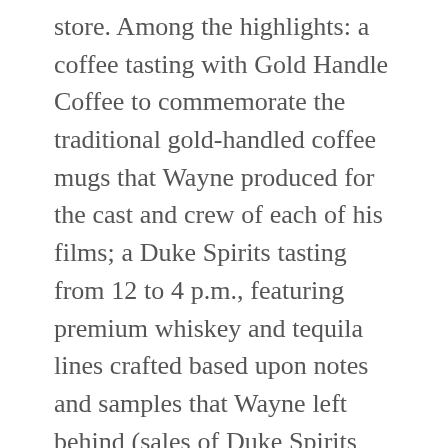store. Among the highlights: a coffee tasting with Gold Handle Coffee to commemorate the traditional gold-handled coffee mugs that Wayne produced for the cast and crew of each of his films; a Duke Spirits tasting from 12 to 4 p.m., featuring premium whiskey and tequila lines crafted based upon notes and samples that Wayne left behind (sales of Duke Spirits will benefit the John Wayne Cancer Foundation); a cake cutting to celebrate John Wayne's birthday with members of the Wayne family at 12:45 p.m., followed by a meet and greet from 1 to 3 p.m. (family members will sign books